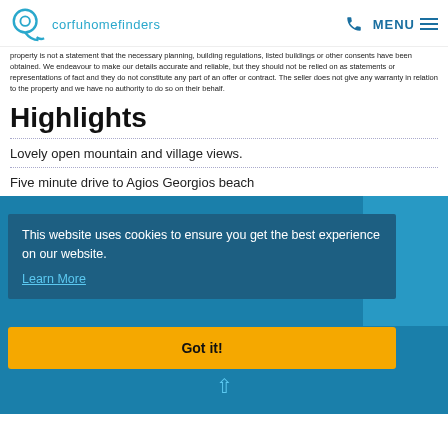corfuhomefinders — MENU
property is not a statement that the necessary planning, building regulations, listed buildings or other consents have been obtained. We endeavour to make our details accurate and reliable, but they should not be relied on as statements or representations of fact and they do not constitute any part of an offer or contract. The seller does not give any warranty in relation to the property and we have no authority to do so on their behalf.
Highlights
Lovely open mountain and village views.
Five minute drive to Agios Georgios beach
This website uses cookies to ensure you get the best experience on our website.
Learn More
Got it!
MORE INFORMATION ON AGIOS GEORGIOS (NW)